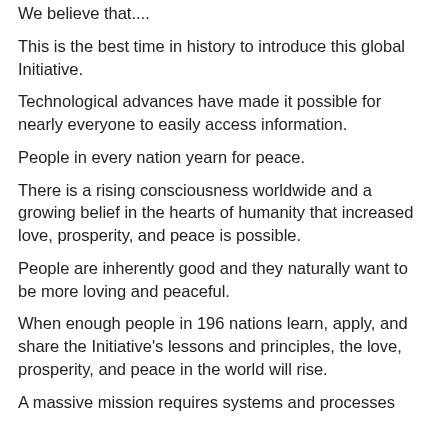We believe that....
This is the best time in history to introduce this global Initiative.
Technological advances have made it possible for nearly everyone to easily access information.
People in every nation yearn for peace.
There is a rising consciousness worldwide and a growing belief in the hearts of humanity that increased love, prosperity, and peace is possible.
People are inherently good and they naturally want to be more loving and peaceful.
When enough people in 196 nations learn, apply, and share the Initiative's lessons and principles, the love, prosperity, and peace in the world will rise.
A massive mission requires systems and processes